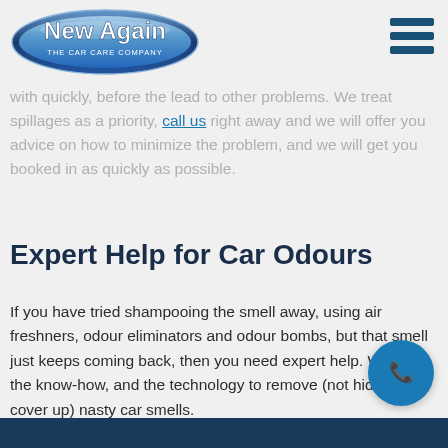[Figure (logo): New Again - The Car Care Company logo, oval shape with blue gradient border and white text]
Solved.
with quickly, before the lead to other problems. We treat spillages as a priority, call us right away and we will offer you advice on how to minimize the problem, and we will get you booked in as quickly as possible.
Expert Help for Car Odours
If you have tried shampooing the smell away, using air freshners, odour eliminators and odour bombs, but that smell just keeps coming back, then you need expert help. We have the know-how, and the technology to remove (not hide or cover up) nasty car smells.